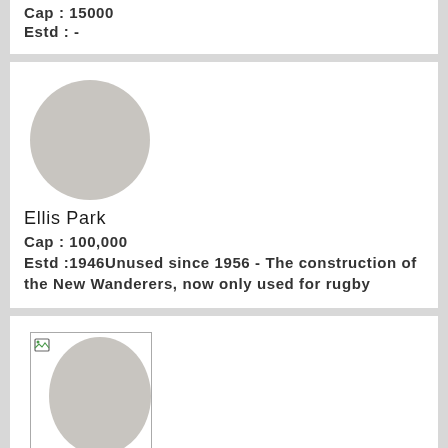Cap : 15000
Estd : -
[Figure (photo): Circular gray placeholder image for Ellis Park]
Ellis Park
Cap : 100,000
Estd :1946Unused since 1956 - The construction of the New Wanderers, now only used for rugby
[Figure (photo): Broken image icon with circular gray placeholder for Lenasia Stadium]
Lenasia Stadium
Cap : -
Estd : -